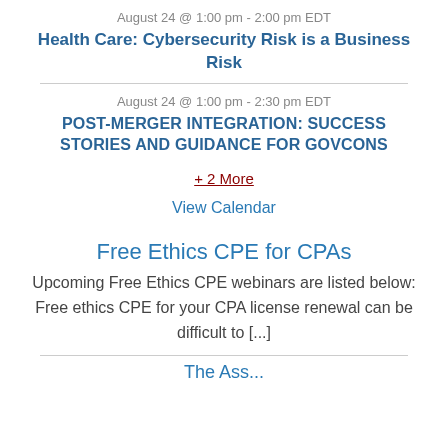August 24 @ 1:00 pm - 2:00 pm EDT
Health Care: Cybersecurity Risk is a Business Risk
August 24 @ 1:00 pm - 2:30 pm EDT
POST-MERGER INTEGRATION: SUCCESS STORIES AND GUIDANCE FOR GOVCONS
+ 2 More
View Calendar
Free Ethics CPE for CPAs
Upcoming Free Ethics CPE webinars are listed below: Free ethics CPE for your CPA license renewal can be difficult to [...]